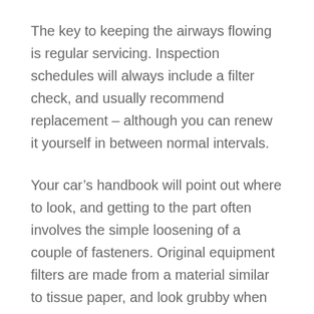The key to keeping the airways flowing is regular servicing. Inspection schedules will always include a filter check, and usually recommend replacement – although you can renew it yourself in between normal intervals.
Your car's handbook will point out where to look, and getting to the part often involves the simple loosening of a couple of fasteners. Original equipment filters are made from a material similar to tissue paper, and look grubby when they need replacing.
To renew a filter, all you have to do is pop in the replacement. However, you don't have to use a paper filter as a replacement, as there are other options to